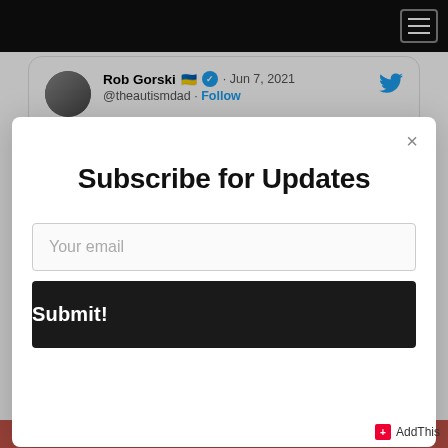Navigation bar with hamburger menu
Rob Gorski 🇺🇦 ✓ · Jun 7, 2021 @theautismdad · Follow
Subscribe for Updates
Your email
Submit!
AddThis